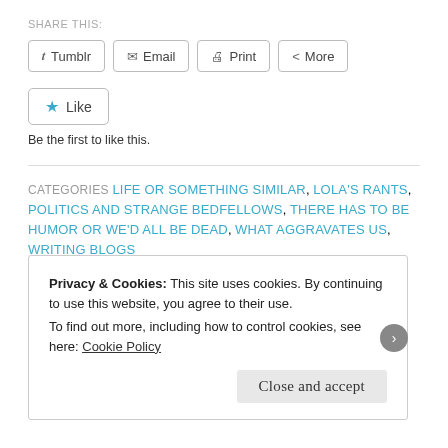SHARE THIS:
[Figure (screenshot): Share buttons: Tumblr, Email, Print, More]
[Figure (screenshot): Like button with star icon]
Be the first to like this.
CATEGORIES  LIFE OR SOMETHING SIMILAR, LOLA'S RANTS, POLITICS AND STRANGE BEDFELLOWS, THERE HAS TO BE HUMOR OR WE'D ALL BE DEAD, WHAT AGGRAVATES US, WRITING BLOGS
TAGS  ALADDIN, ANTI-AMERICAN, CASRO, COMMUNISTS, CONSTITUTION, CUBA, DEMOCRATS, G. GORDON LIDDY,
Privacy & Cookies: This site uses cookies. By continuing to use this website, you agree to their use.
To find out more, including how to control cookies, see here: Cookie Policy
Close and accept